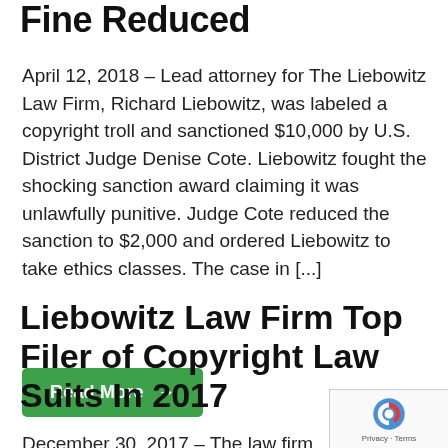Fine Reduced
April 12, 2018 – Lead attorney for The Liebowitz Law Firm, Richard Liebowitz, was labeled a copyright troll and sanctioned $10,000 by U.S. District Judge Denise Cote. Liebowitz fought the shocking sanction award claiming it was unlawfully punitive. Judge Cote reduced the sanction to $2,000 and ordered Liebowitz to take ethics classes. The case in [...]
Read More →
Liebowitz Law Firm Top Filer of Copyright Law Suits In 2017
December 30, 2017 – The law firm of Ri...